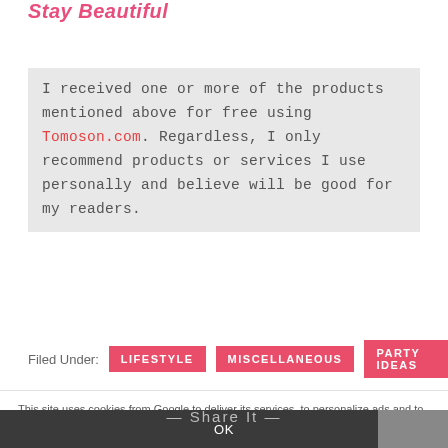Stay Beautiful
I received one or more of the products mentioned above for free using Tomoson.com. Regardless, I only recommend products or services I use personally and believe will be good for my readers.
Filed Under: LIFESTYLE  MISCELLANEOUS  PARTY IDEAS
This site uses cookies from Google to deliver its services, to personalize ads and to analyze traffic. By using this site, you agree to its use of cookies. More info
OK